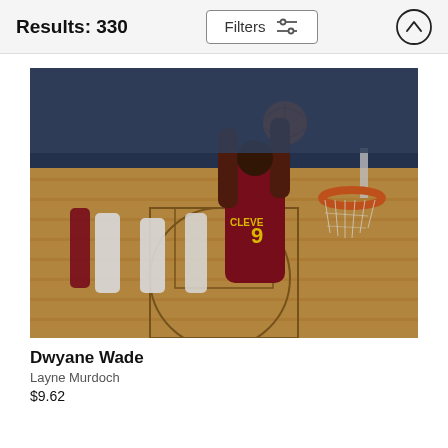Results: 330
[Figure (photo): NBA basketball photo showing Dwyane Wade in a Cavaliers jersey #9 dunking near the basket, with other players and crowd in background]
Dwyane Wade
Layne Murdoch
$9.62